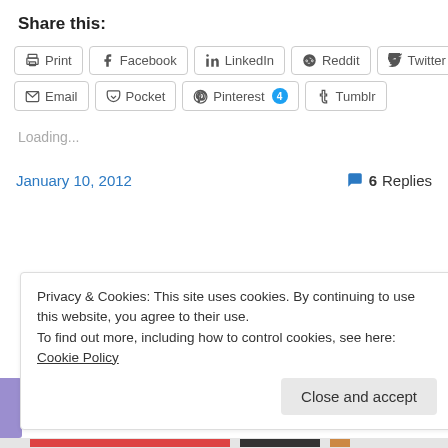Share this:
[Figure (other): Share buttons: Print, Facebook, LinkedIn, Reddit, Twitter, Email, Pocket, Pinterest (4), Tumblr]
Loading...
January 10, 2012   6 Replies
Privacy & Cookies: This site uses cookies. By continuing to use this website, you agree to their use.
To find out more, including how to control cookies, see here: Cookie Policy
Close and accept